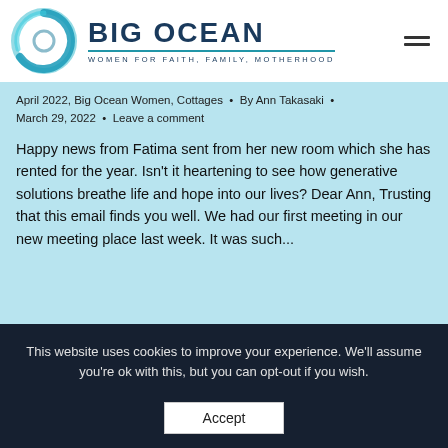[Figure (logo): Big Ocean Women logo — circular teal brushstroke icon with text 'BIG OCEAN' and tagline 'WOMEN FOR FAITH, FAMILY, MOTHERHOOD']
April 2022, Big Ocean Women, Cottages • By Ann Takasaki • March 29, 2022 • Leave a comment
Happy news from Fatima sent from her new room which she has rented for the year. Isn't it heartening to see how generative solutions breathe life and hope into our lives? Dear Ann, Trusting that this email finds you well. We had our first meeting in our new meeting place last week. It was such...
This website uses cookies to improve your experience. We'll assume you're ok with this, but you can opt-out if you wish.